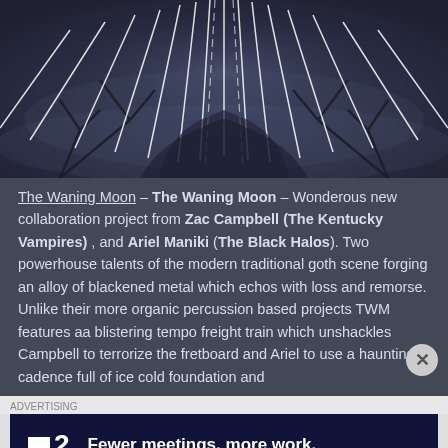[Figure (illustration): Dark atmospheric artwork showing bare tree branches with white radiating lines/streaks against a dark blue-grey background, symmetric composition suggesting a gothic or metal album aesthetic]
The Waning Moon – The Waning Moon – Wonderous new collaboration project from Zac Campbell (The Kentucky Vampires) , and Ariel Maniki (The Black Halos). Two powerhouse talents of the modern traditional goth scene forging an alloy of blackened metal which echos with loss and remorse. Unlike their more organic percussion based projects TWM features aa blistering tempo freight train which unshackles Campbell to terrorize the fretboard and Ariel to use a haunting cadence full of ice cold foundation and
ADVERTISING
[Figure (screenshot): Advertisement banner for Twist app: dark navy background with white Twist logo (small square icon + number 2) and white bold text 'Fewer meetings, more work.']